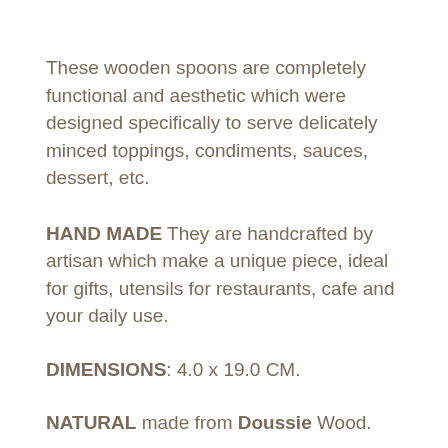These wooden spoons are completely functional and aesthetic which were designed specifically to serve delicately minced toppings, condiments, sauces, dessert, etc.
HAND MADE They are handcrafted by artisan which make a unique piece, ideal for gifts, utensils for restaurants, cafe and your daily use.
DIMENSIONS: 4.0 x 19.0 CM.
NATURAL made from Doussie Wood.
100% FOOD SAFE. No BPA, PVC, or phthalates.
BEAUTIFUL, UNIQUE & DURABLE: our wooden